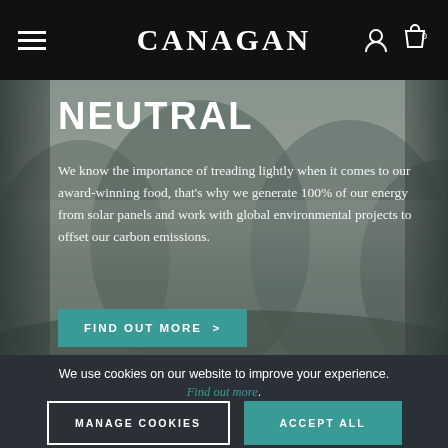Canagan
NEUTRAL
We know the importance of treading lightly when it comes to our award-winning food, that's why we generate 100% of our energy from solar panels and work with global environmental projects to offset our carbon emissions.
FIND OUT MORE >
We use cookies on our website to improve your experience. Find out more.
MANAGE COOKIES
ACCEPT ALL